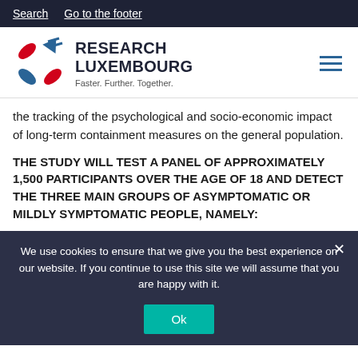Search  Go to the footer
[Figure (logo): Research Luxembourg logo with geometric arrow/leaf shapes in red and blue, tagline: Faster. Further. Together.]
the tracking of the psychological and socio-economic impact of long-term containment measures on the general population.
THE STUDY WILL TEST A PANEL OF APPROXIMATELY 1,500 PARTICIPANTS OVER THE AGE OF 18 AND DETECT THE THREE MAIN GROUPS OF ASYMPTOMATIC OR MILDLY SYMPTOMATIC PEOPLE, NAMELY:
We use cookies to ensure that we give you the best experience on our website. If you continue to use this site we will assume that you are happy with it.